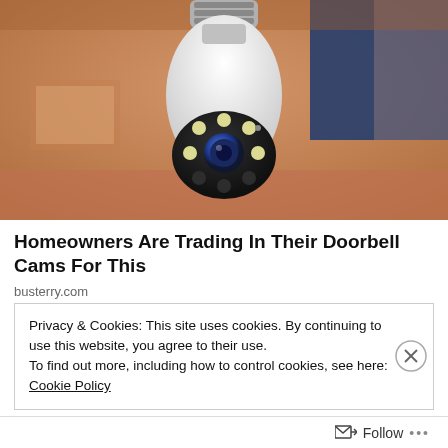[Figure (photo): A white security camera shaped like a light bulb with a screw base at top, hanging from ceiling in a blurred indoor room background with warm orange and blue tones. The camera has a dome with multiple LED lights arranged in a circle around a central lens.]
Homeowners Are Trading In Their Doorbell Cams For This
busterry.com
Privacy & Cookies: This site uses cookies. By continuing to use this website, you agree to their use.
To find out more, including how to control cookies, see here: Cookie Policy
Close and accept
Follow ...